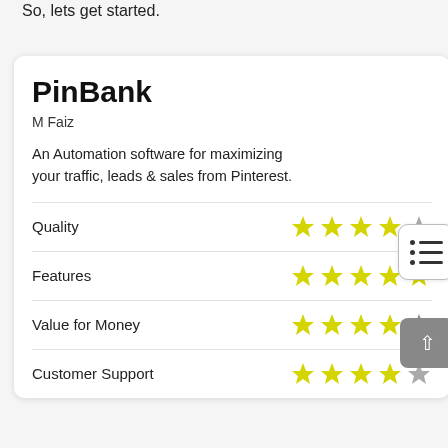So, lets get started.
PinBank
M Faiz
An Automation software for maximizing your traffic, leads & sales from Pinterest.
| Category | Rating |
| --- | --- |
| Quality | 4/5 stars |
| Features | 5/5 stars |
| Value for Money | 4.5/5 stars |
| Customer Support | 4/5 stars |